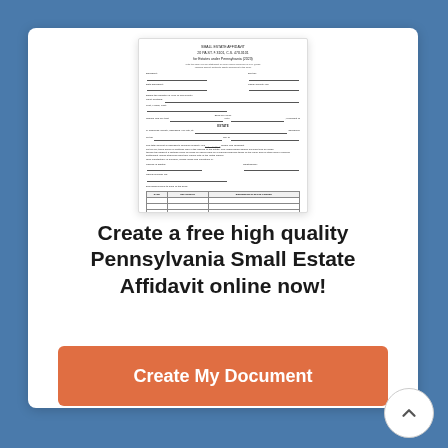[Figure (screenshot): Preview image of a Pennsylvania Small Estate Affidavit form showing title, fields for name, address, date, beneficiaries table, and signature lines.]
Create a free high quality Pennsylvania Small Estate Affidavit online now!
Create My Document